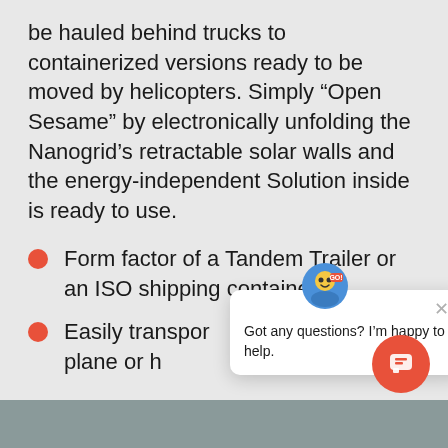be hauled behind trucks to containerized versions ready to be moved by helicopters. Simply “Open Sesame” by electronically unfolding the Nanogrid’s retractable solar walls and the energy-independent Solution inside is ready to use.
Form factor of a Tandem Trailer or an ISO shipping container
Easily transported by truck, ship, plane or helicopter
[Figure (screenshot): Chat widget popup with avatar icon showing 'Got any questions? I'm happy to help.' message with a close X button]
[Figure (illustration): Red circular chat FAB button with chat icon at bottom right]
[Figure (photo): Bottom image strip showing a dark gray/teal surface]